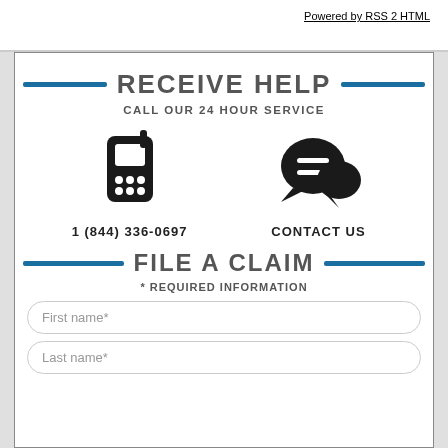Powered by RSS 2 HTML
RECEIVE HELP
CALL OUR 24 HOUR SERVICE
[Figure (illustration): Phone icon (mobile/cell phone)]
1 (844) 336-0697
[Figure (illustration): Chat/message bubbles icon]
CONTACT US
FILE A CLAIM
* REQUIRED INFORMATION
First name*
Last name*